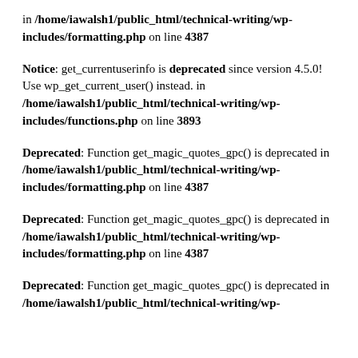in /home/iawalsh1/public_html/technical-writing/wp-includes/formatting.php on line 4387
Notice: get_currentuserinfo is deprecated since version 4.5.0! Use wp_get_current_user() instead. in /home/iawalsh1/public_html/technical-writing/wp-includes/functions.php on line 3893
Deprecated: Function get_magic_quotes_gpc() is deprecated in /home/iawalsh1/public_html/technical-writing/wp-includes/formatting.php on line 4387
Deprecated: Function get_magic_quotes_gpc() is deprecated in /home/iawalsh1/public_html/technical-writing/wp-includes/formatting.php on line 4387
Deprecated: Function get_magic_quotes_gpc() is deprecated in /home/iawalsh1/public_html/technical-writing/wp-includes/formatting.php